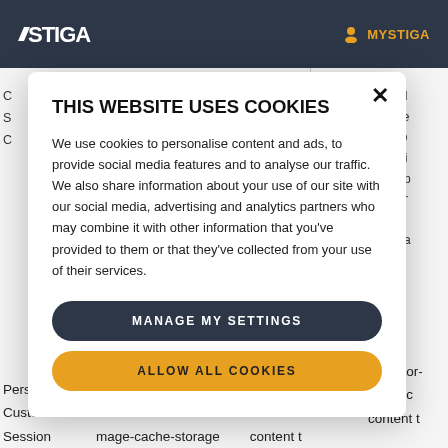STIGA | MYSTIGA
THIS WEBSITE USES COOKIES
We use cookies to personalise content and ads, to provide social media features and to analyse our traffic. We also share information about your use of our site with our social media, advertising and analytics partners who may combine it with other information that you've provided to them or that they've collected from your use of their services.
MANAGE MY SETTINGS
ALLOW ALL COOKIES
Persistent
Customization
Session
mage-cache-storage
of visitor-specific
content t